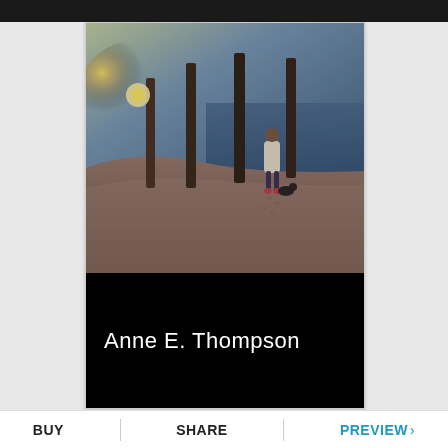[Figure (photo): Book cover showing a person in a white coat walking away on a sandy beach at night, with tall wooden posts/pilings and a glowing light source in the upper left. Dark blue sky and sandy ground. Small dog or figure near the person's feet.]
Anne E. Thompson
BUY | SHARE | PREVIEW >